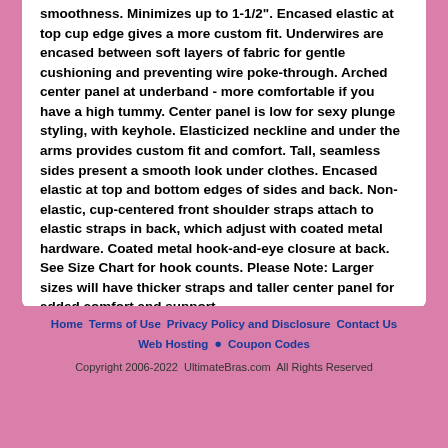smoothness. Minimizes up to 1-1/2". Encased elastic at top cup edge gives a more custom fit. Underwires are encased between soft layers of fabric for gentle cushioning and preventing wire poke-through. Arched center panel at underband - more comfortable if you have a high tummy. Center panel is low for sexy plunge styling, with keyhole. Elasticized neckline and under the arms provides custom fit and comfort. Tall, seamless sides present a smooth look under clothes. Encased elastic at top and bottom edges of sides and back. Non-elastic, cup-centered front shoulder straps attach to elastic straps in back, which adjust with coated metal hardware. Coated metal hook-and-eye closure at back. See Size Chart for hook counts. Please Note: Larger sizes will have thicker straps and taller center panel for added comfort and support.
More Lilyette
Home  Terms of Use  Privacy Policy and Disclosure  Contact Us  Web Hosting  •  Coupon Codes  Copyright 2006-2022  UltimateBras.com  All Rights Reserved